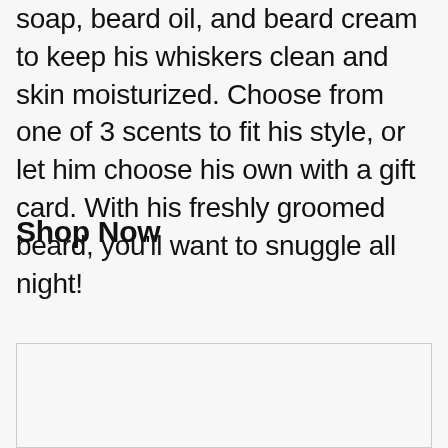him. Our Beard Kits contain all natural beard soap, beard oil, and beard cream to keep his whiskers clean and skin moisturized. Choose from one of 3 scents to fit his style, or let him choose his own with a gift card. With his freshly groomed beard, you'll want to snuggle all night!
Shop Now